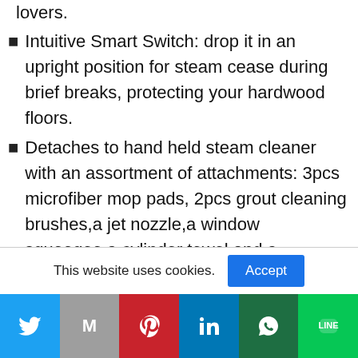lovers.
Intuitive Smart Switch: drop it in an upright position for steam cease during brief breaks, protecting your hardwood floors.
Detaches to hand held steam cleaner with an assortment of attachments: 3pcs microfiber mop pads, 2pcs grout cleaning brushes,a jet nozzle,a window squeegee,a cylinder towel and a extension hose. Ideal for a deep cleaning of upholstery,kitchen and bathroom
On-demand HI, MED and LOW steam settings
This website uses cookies.
[Figure (infographic): Social media sharing bar with Twitter, Gmail, Pinterest, LinkedIn, WhatsApp, and LINE buttons]